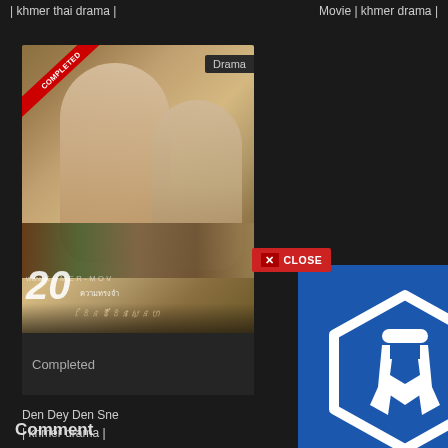| khmer thai drama |
Movie | khmer drama |
[Figure (photo): Movie poster for 'Den Dey Den Sne' showing a man and woman in period costume with COMPLETED badge and Drama tag. Website watermark www.khmer-Movie.n visible. Shows small ensemble figures at bottom.]
Completed
Den Dey Den Sne | khmer drama |
[Figure (logo): CLOSE button overlay (red background with X CLOSE text) and Crypto.com blue hexagon app icon advertisement overlay]
Comment